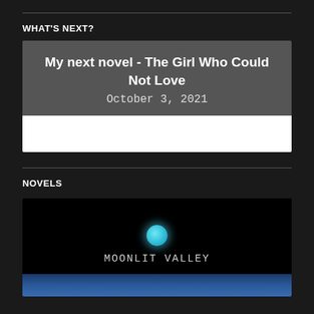WHAT'S NEXT?
My next novel - The Girl Who Could Not Love
October 3, 2021
NOVELS
[Figure (illustration): Book cover for Moonlit Valley showing a cyan moon against a black background with text MOONLIT VALLEY and blue winter trees at the bottom]